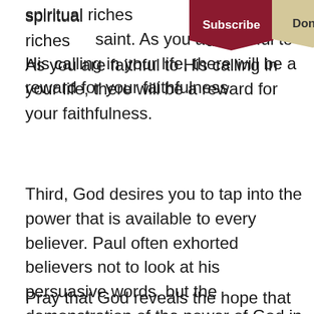spiritual riches … saint. As you are faithful to His calling in your life, there will be a reward for your faithfulness.
Third, God desires you to tap into the power that is available to every believer. Paul often exhorted believers not to look at his persuasive words, but the demonstration of the power of God in his life. He wants you to know this same power is available to you. After all, Jesus said we would do even greater works than He did after He sent the Holy Spirit to us.
Pray that God reveals the hope that exists inside of